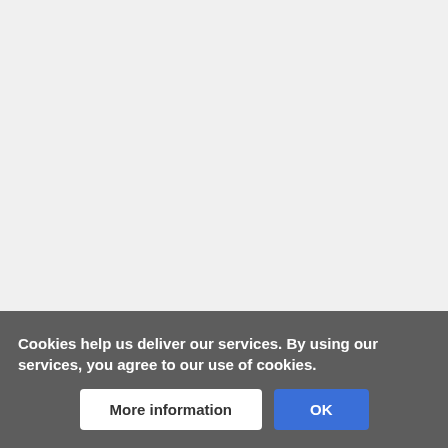|link=National position of the United Kingdom (2022)#State responsibility|National position of the United Kingdom (2022)]][[National position of the United Kingdom
Cookies help us deliver our services. By using our services, you agree to our use of cookies.